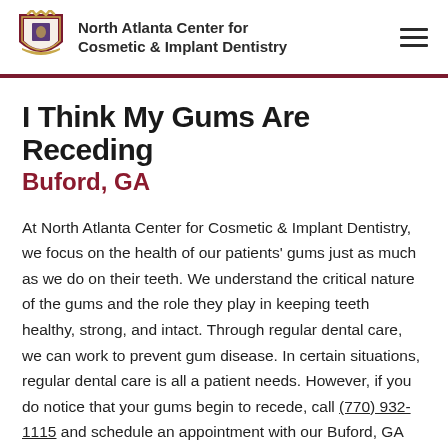North Atlanta Center for Cosmetic & Implant Dentistry
I Think My Gums Are Receding
Buford, GA
At North Atlanta Center for Cosmetic & Implant Dentistry, we focus on the health of our patients' gums just as much as we do on their teeth. We understand the critical nature of the gums and the role they play in keeping teeth healthy, strong, and intact. Through regular dental care, we can work to prevent gum disease. In certain situations, regular dental care is all a patient needs. However, if you do notice that your gums begin to recede, call (770) 932-1115 and schedule an appointment with our Buford, GA dental office. Since gum